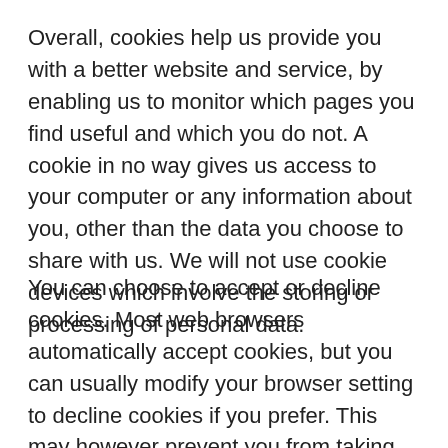Overall, cookies help us provide you with a better website and service, by enabling us to monitor which pages you find useful and which you do not. A cookie in no way gives us access to your computer or any information about you, other than the data you choose to share with us. We will not use cookie devices which involve the storing or processing of personal data.
You can choose to accept or decline cookies. Most web browsers automatically accept cookies, but you can usually modify your browser setting to decline cookies if you prefer. This may however prevent you from taking full advantage of the website. It is a condition of